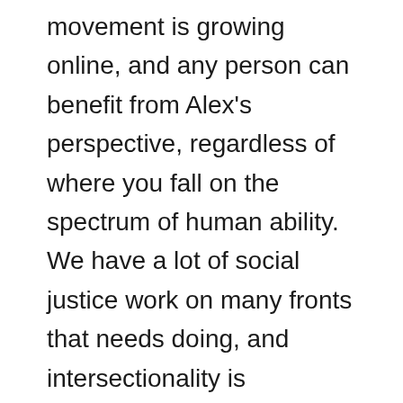movement is growing online, and any person can benefit from Alex's perspective, regardless of where you fall on the spectrum of human ability. We have a lot of social justice work on many fronts that needs doing, and intersectionality is absolutely essential to making sure everyone's lifted up together, and no one gets left behind.
Joyrossblind – Joy's account was one of the first that I found online...